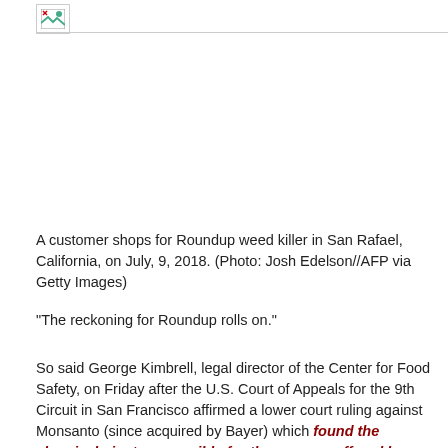[Figure (photo): Broken/unloaded image placeholder icon at top left]
A customer shops for Roundup weed killer in San Rafael, California, on July, 9, 2018. (Photo: Josh Edelson//AFP via Getty Images)
“The reckoning for Roundup rolls on.”
So said George Kimbrell, legal director of the Center for Food Safety, on Friday after the U.S. Court of Appeals for the 9th Circuit in San Francisco affirmed a lower court ruling against Monsanto (since acquired by Bayer) which found the chemical giant responsible for the cancer suffered by users of its signature herbicide